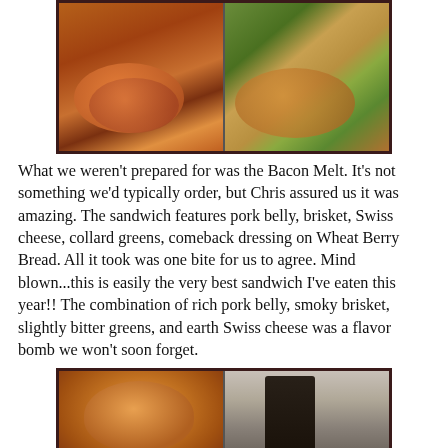[Figure (photo): Two side-by-side food photos in a dark frame: left shows fried corn dogs with dipping sauce, right shows pickles and dipping sauce]
What we weren't prepared for was the Bacon Melt. It's not something we'd typically order, but Chris assured us it was amazing. The sandwich features pork belly, brisket, Swiss cheese, collard greens, comeback dressing on Wheat Berry Bread. All it took was one bite for us to agree. Mind blown...this is easily the very best sandwich I've eaten this year!! The combination of rich pork belly, smoky brisket, slightly bitter greens, and earth Swiss cheese was a flavor bomb we won't soon forget.
[Figure (photo): Two side-by-side photos in a dark frame: left shows a round bread roll or bun, right shows a bicycle]